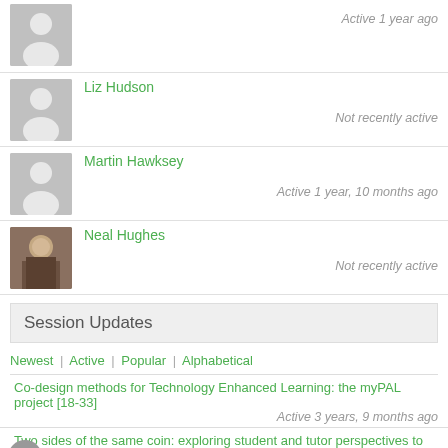Active 1 year ago
Liz Hudson
Not recently active
Martin Hawksey
Active 1 year, 10 months ago
Neal Hughes
Not recently active
Session Updates
Newest | Active | Popular | Alphabetical
Co-design methods for Technology Enhanced Learning: the myPAL project [18-33]
Active 3 years, 9 months ago
Two sides of the same coin: exploring student and tutor perspectives to develop a best practice mode
Active 3 years, 11 months ago
Partnering experiences to boost outcomes [18-195]